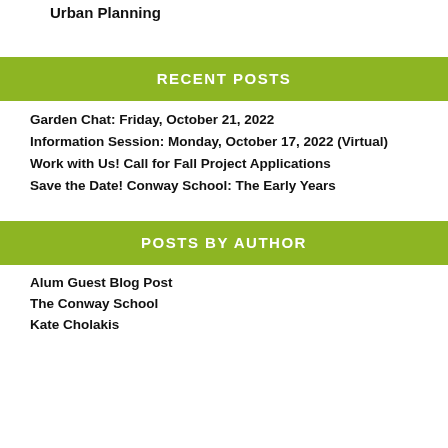Urban Planning
RECENT POSTS
Garden Chat: Friday, October 21, 2022
Information Session: Monday, October 17, 2022 (Virtual)
Work with Us! Call for Fall Project Applications
Save the Date! Conway School: The Early Years
POSTS BY AUTHOR
Alum Guest Blog Post
The Conway School
Kate Cholakis